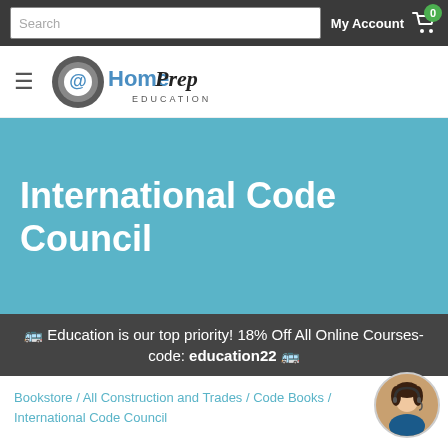Search   My Account  0
[Figure (logo): AtHomePrep Education logo with @ symbol and script/sans text]
International Code Council
🚌 Education is our top priority! 18% Off All Online Courses- code: education22 🚌
Bookstore / All Construction and Trades / Code Books / International Code Council